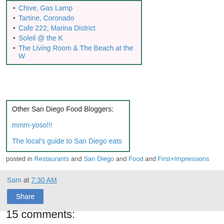Chive, Gas Lamp
Tartine, Coronado
Cafe 222, Marina District
Soleil @ the K
The Living Room & The Beach at the W
Other San Diego Food Bloggers:
mmm-yoso!!!
The local's guide to San Diego eats
posted in Restaurants and San Diego and Food and First+Impressions
Sam at 7:30 AM
Share
15 comments:
eat stuff 22/6/05 09:18